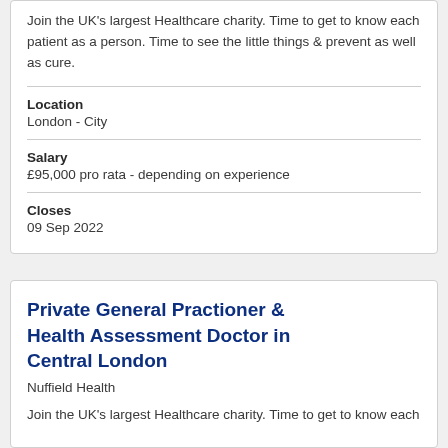Join the UK's largest Healthcare charity. Time to get to know each patient as a person. Time to see the little things & prevent as well as cure.
Location
London - City
Salary
£95,000 pro rata - depending on experience
Closes
09 Sep 2022
Private General Practioner & Health Assessment Doctor in Central London
Nuffield Health
Join the UK's largest Healthcare charity. Time to get to know each